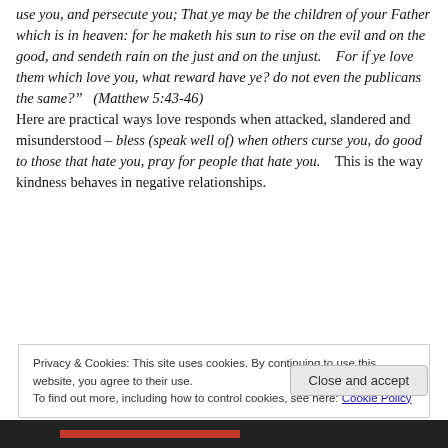use you, and persecute you; That ye may be the children of your Father which is in heaven: for he maketh his sun to rise on the evil and on the good, and sendeth rain on the just and on the unjust.   For if ye love them which love you, what reward have ye? do not even the publicans the same?"   (Matthew 5:43-46)
Here are practical ways love responds when attacked, slandered and misunderstood – bless (speak well of) when others curse you, do good to those that hate you, pray for people that hate you.   This is the way kindness behaves in negative relationships.
Privacy & Cookies: This site uses cookies. By continuing to use this website, you agree to their use.
To find out more, including how to control cookies, see here: Cookie Policy
Close and accept